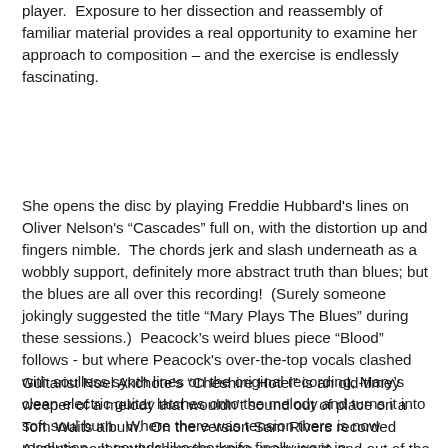player.  Exposure to her dissection and reassembly of familiar material provides a real opportunity to examine her approach to composition – and the exercise is endlessly fascinating.
She opens the disc by playing Freddie Hubbard's lines on Oliver Nelson's “Cascades” full on, with the distortion up and fingers nimble.  The chords jerk and slash underneath as a wobbly support, definitely more abstract truth than blues; but the blues are all over this recording!  (Surely someone jokingly suggested the title “Mary Plays The Blues” during these sessions.)  Peacock’s weird blues piece “Blood” follows - but where Peacock's over-the-top vocals clashed with soulless synth lines on the original recording, Mary’s clean electric guitar latches onto the melody and turns it into soft soul burn.  Where there was tension there is now resolution.  It sounds like the knife finally went in.
Guitarist Noel Akchote’s “Cheshire Hotel” is an old-timey weeper of a melody that wouldn’t sound out of place on a Tom Waits album.  On the version Sam Rivers recorded Akchote constantly changes tones, weaving in and out of the